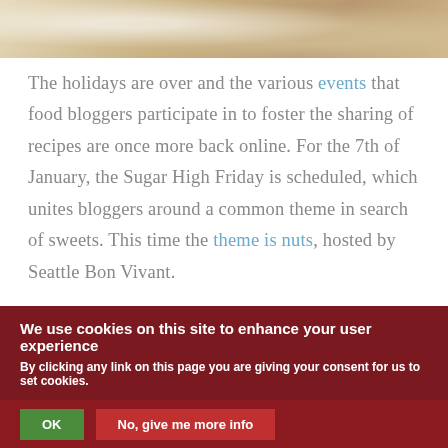[Figure (photo): Close-up photo of food, likely nuts or sweets on a plate, appearing warm-toned and blurred as a banner image]
The holidays are over and the various events that food bloggers participate in to foster the sharing of recipes are once more back online. For the 7th of January, the Sugar High Friday is scheduled, which unites bloggers around a common theme in search of sweets. This time the theme is nuts, hosted by Seattle Bon Vivant.

Now, nuts present both a great opportunity for us, since Sicily is strong on nuts - as discussed
We use cookies on this site to enhance your user experience
By clicking any link on this page you are giving your consent for us to set cookies.